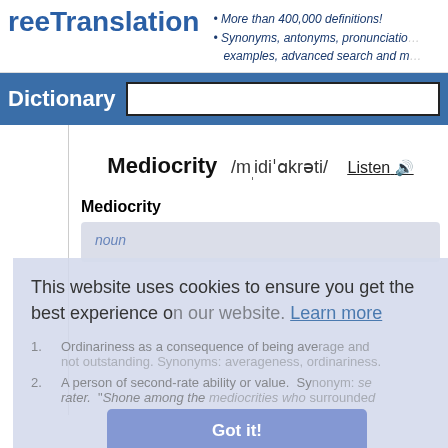reeTranslation — More than 400,000 definitions! Synonyms, antonyms, pronunciation, examples, advanced search and more
Dictionary
Mediocrity /mˌidiˈɑkrəti/ Listen
Mediocrity
noun
1. Ordinariness as a consequence of being average and not outstanding. Synonyms: averageness, normality, ordinariness.
2. A person of second-rate ability or value. Synonym: second-rater. "Shone among the mediocrities who surrounded
This website uses cookies to ensure you get the best experience on our website. Learn more
Got it!